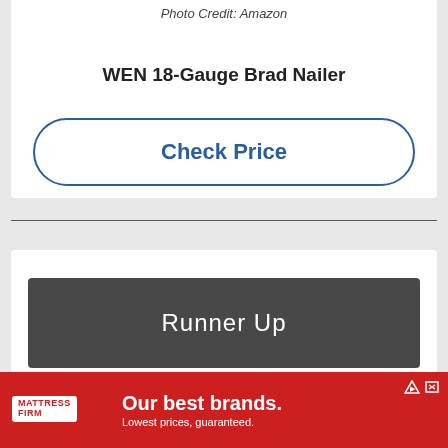Photo Credit: Amazon
WEN 18-Gauge Brad Nailer
Check Price
Runner Up
[Figure (other): Mattress Firm advertisement banner with text: Our best brands. Lowest prices, guaranteed.]